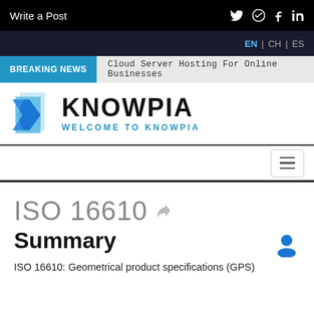Write a Post
EN | CH | ES
BREAKING NEWS  Cloud Server Hosting For Online Businesses
[Figure (logo): Knowpia logo: blue geometric shape resembling stacked paper/arrow pointing left, with text KNOWPIA and subtitle WELCOME TO KNOWPIA]
ISO 16610
Summary
ISO 16610: Geometrical product specifications (GPS)